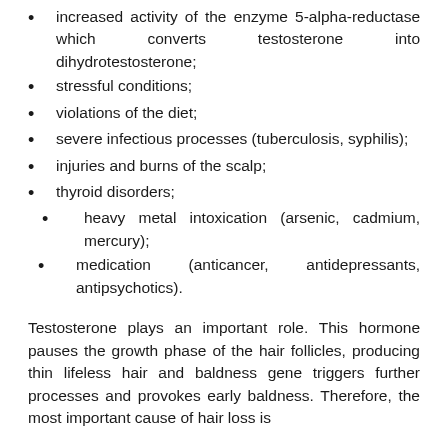increased activity of the enzyme 5-alpha-reductase which converts testosterone into dihydrotestosterone;
stressful conditions;
violations of the diet;
severe infectious processes (tuberculosis, syphilis);
injuries and burns of the scalp;
thyroid disorders;
heavy metal intoxication (arsenic, cadmium, mercury);
medication (anticancer, antidepressants, antipsychotics).
Testosterone plays an important role. This hormone pauses the growth phase of the hair follicles, producing thin lifeless hair and baldness gene triggers further processes and provokes early baldness. Therefore, the most important cause of hair loss is...